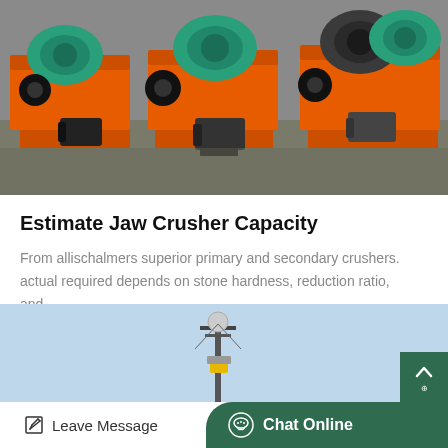[Figure (photo): Orange industrial jaw crusher machines with green gearboxes and black electric motors lined up on a concrete floor in a manufacturing facility]
Estimate Jaw Crusher Capacity
From allischalmers superior primary and secondary crushers. actual required depends on stone hardness, reduction ratio, and…
Nov_25
GET PRICE
[Figure (photo): Industrial machinery or antenna tower against a light blue sky]
Leave Message
Chat Online